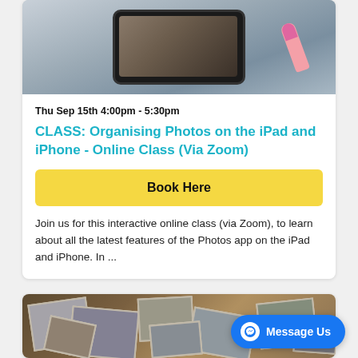[Figure (photo): Person holding a smartphone/tablet horizontally, pointing at the screen with a finger with pink nail polish]
Thu Sep 15th 4:00pm - 5:30pm
CLASS: Organising Photos on the iPad and iPhone - Online Class (Via Zoom)
Book Here
Join us for this interactive online class (via Zoom), to learn about all the latest features of the Photos app on the iPad and iPhone. In ...
[Figure (photo): Overhead view of a collection of old black and white photographs scattered on a wooden table]
Message Us